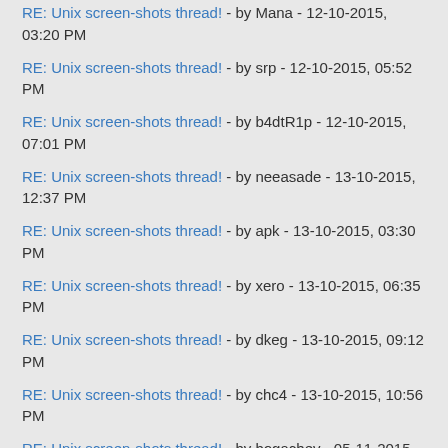RE: Unix screen-shots thread! - by Mana - 12-10-2015, 03:20 PM
RE: Unix screen-shots thread! - by srp - 12-10-2015, 05:52 PM
RE: Unix screen-shots thread! - by b4dtR1p - 12-10-2015, 07:01 PM
RE: Unix screen-shots thread! - by neeasade - 13-10-2015, 12:37 PM
RE: Unix screen-shots thread! - by apk - 13-10-2015, 03:30 PM
RE: Unix screen-shots thread! - by xero - 13-10-2015, 06:35 PM
RE: Unix screen-shots thread! - by dkeg - 13-10-2015, 09:12 PM
RE: Unix screen-shots thread! - by chc4 - 13-10-2015, 10:56 PM
RE: Unix screen-shots thread! - by bogachev - 05-11-2015, 02:16 AM
RE: Unix screen-shots thread! - by xero - 18-11-2015, 01:47 PM
RE: Unix screen-shots thread! - by ChefIronBelly - 18-11-2015, 02:19 PM
RE: Unix screen-shots thread! - by rocx - 19-11-2015, 10:13